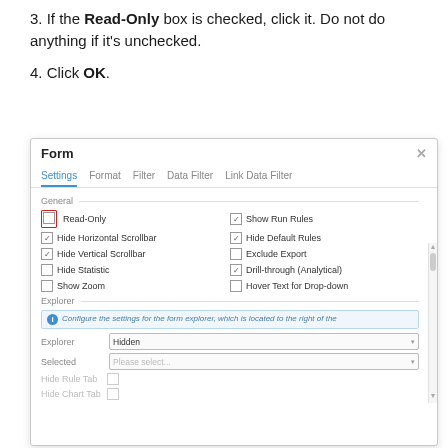3. If the Read-Only box is checked, click it. Do not do anything if it's unchecked.
4. Click OK.
[Figure (screenshot): A dialog box titled 'Form' with tabs: Settings (active, blue underline), Format, Filter, Data Filter, Link Data Filter. Under 'General' section: Read-Only checkbox (unchecked, highlighted with red border), Show Run Rules (checked), Hide Horizontal Scrollbar (checked), Hide Default Rules (checked), Hide Vertical Scrollbar (checked), Exclude Export (unchecked), Hide Statistic (unchecked), Drill-through (Analytical) (checked), Show Zoom (unchecked), Hover Text for Drop-down (unchecked). Explorer section with info text, Explorer dropdown set to 'Hidden', Selected dropdown with 'Please select...', Hide Rule Tab with unchecked checkbox, partially visible Hide Chart Tab row.]